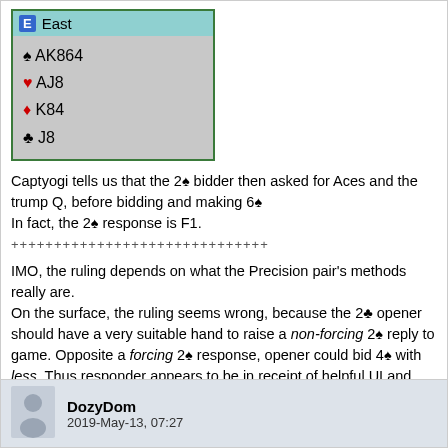[Figure (other): Bridge hand card diagram showing East position with spades AK864, hearts AJ8, diamonds K84, clubs J8]
Captyogi tells us that the 2♠ bidder then asked for Aces and the trump Q, before bidding and making 6♠
In fact, the 2♠ response is F1.
++++++++++++++++++++++++++++++
IMO, the ruling depends on what the Precision pair's methods really are.
On the surface, the ruling seems wrong, because the 2♣ opener should have a very suitable hand to raise a non-forcing 2♠ reply to game. Opposite a forcing 2♠ response, opener could bid 4♠ with less. Thus responder appears to be in receipt of helpful UI and seems to have used it to his advantage. Unless a poll would have determined that there's no logical alternative to bidding the slam.
DozyDom
2019-May-13, 07:27